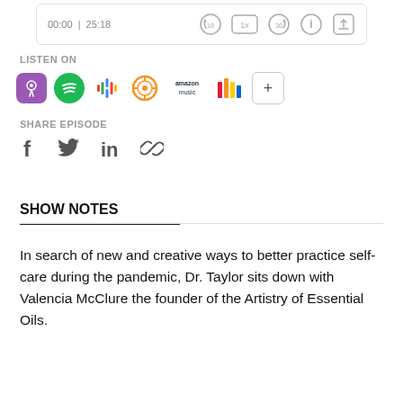[Figure (screenshot): Podcast audio player bar showing time 00:00 | 25:18 with playback controls including rewind 10s, 1x speed, forward 30s, info, and share buttons]
LISTEN ON
[Figure (infographic): Row of podcast platform icons: Apple Podcasts (purple), Spotify (green), Google Podcasts (colorful dots), Overcast (orange), Amazon Music (text), iHeartRadio (colored bars), and a + button]
SHARE EPISODE
[Figure (infographic): Social sharing icons: Facebook (f), Twitter (bird), LinkedIn (in), and link/chain icon]
SHOW NOTES
In search of new and creative ways to better practice self-care during the pandemic, Dr. Taylor sits down with Valencia McClure the founder of the Artistry of Essential Oils.